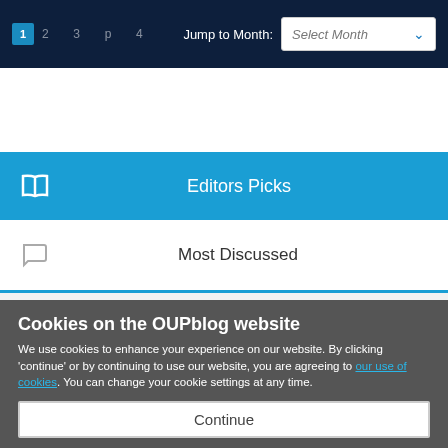1  Jump to Month: Select Month
Editors Picks
Most Discussed
Cookies on the OUPblog website
We use cookies to enhance your experience on our website. By clicking 'continue' or by continuing to use our website, you are agreeing to our use of cookies. You can change your cookie settings at any time.
Continue